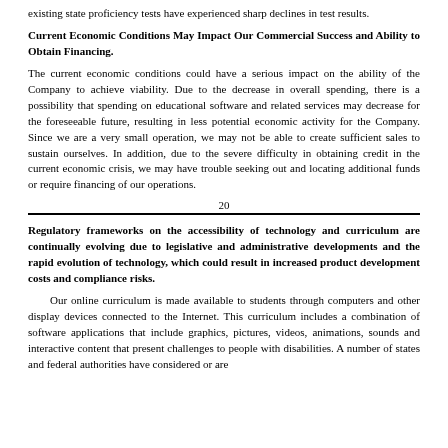existing state proficiency tests have experienced sharp declines in test results.
Current Economic Conditions May Impact Our Commercial Success and Ability to Obtain Financing.
The current economic conditions could have a serious impact on the ability of the Company to achieve viability. Due to the decrease in overall spending, there is a possibility that spending on educational software and related services may decrease for the foreseeable future, resulting in less potential economic activity for the Company. Since we are a very small operation, we may not be able to create sufficient sales to sustain ourselves. In addition, due to the severe difficulty in obtaining credit in the current economic crisis, we may have trouble seeking out and locating additional funds or require financing of our operations.
20
Regulatory frameworks on the accessibility of technology and curriculum are continually evolving due to legislative and administrative developments and the rapid evolution of technology, which could result in increased product development costs and compliance risks.
Our online curriculum is made available to students through computers and other display devices connected to the Internet. This curriculum includes a combination of software applications that include graphics, pictures, videos, animations, sounds and interactive content that present challenges to people with disabilities. A number of states and federal authorities have considered or are